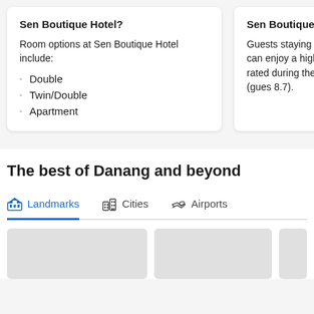Sen Boutique Hotel?
Room options at Sen Boutique Hotel include:
Double
Twin/Double
Apartment
Sen Boutique Hotel?
Guests staying at Sen can enjoy a highly-rated during their stay (gues 8.7).
The best of Danang and beyond
Landmarks   Cities   Airports